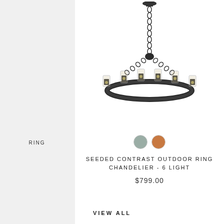[Figure (photo): A ring chandelier with 6 lights, featuring seeded glass cylinder shades and a dark/black iron ring frame, suspended by a chain from a ceiling mount.]
[Figure (other): Two color swatches: a gray-green circle and a copper/bronze circle]
RING
SEEDED CONTRAST OUTDOOR RING CHANDELIER - 6 LIGHT
$799.00
VIEW ALL